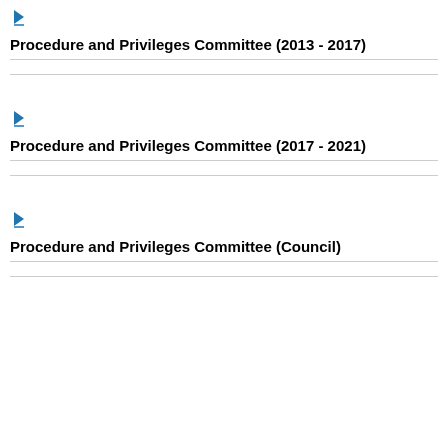Procedure and Privileges Committee (2013 - 2017)
Procedure and Privileges Committee (2017 - 2021)
Procedure and Privileges Committee (Council)